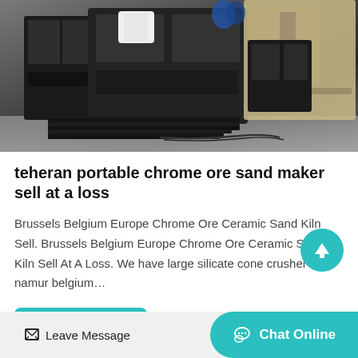[Figure (photo): Industrial portable chrome ore sand maker / crusher machinery in a warehouse or factory setting, showing large black metal machinery frames and components]
teheran portable chrome ore sand maker sell at a loss
Brussels Belgium Europe Chrome Ore Ceramic Sand Kiln Sell. Brussels Belgium Europe Chrome Ore Ceramic Sand Kiln Sell At A Loss. We have large silicate cone crusher in namur belgium…